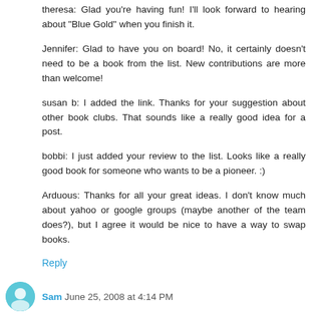theresa: Glad you're having fun! I'll look forward to hearing about "Blue Gold" when you finish it.
Jennifer: Glad to have you on board! No, it certainly doesn't need to be a book from the list. New contributions are more than welcome!
susan b: I added the link. Thanks for your suggestion about other book clubs. That sounds like a really good idea for a post.
bobbi: I just added your review to the list. Looks like a really good book for someone who wants to be a pioneer. :)
Arduous: Thanks for all your great ideas. I don't know much about yahoo or google groups (maybe another of the team does?), but I agree it would be nice to have a way to swap books.
Reply
Sam  June 25, 2008 at 4:14 PM